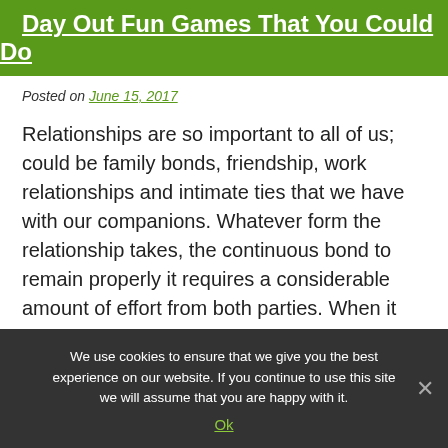Day Out Fun Games That You Could Do
Posted on June 15, 2017
Relationships are so important to all of us; could be family bonds, friendship, work relationships and intimate ties that we have with our companions. Whatever form the relationship takes, the continuous bond to remain properly it requires a considerable amount of effort from both parties. When it comes to companies, you may have seen them organizing different workshops and day outs annually to make the work colleagues to go out and
We use cookies to ensure that we give you the best experience on our website. If you continue to use this site we will assume that you are happy with it. Ok